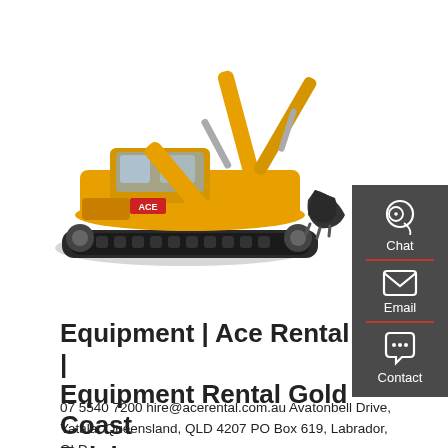[Figure (photo): Yellow excavator/crawler digger on white background with brand markings]
[Figure (infographic): Dark grey sidebar with Chat (headset icon), Email (envelope icon), and Contact (speech bubble icon) buttons with red dividers]
Equipment | Ace Rental | Equipment Rental Gold Coast Brisbane
07 5540 7200 hire@acerental.com.au Avatonbell Drive, Yatala, Queensland, QLD 4207 PO Box 619, Labrador, QLD, 4215